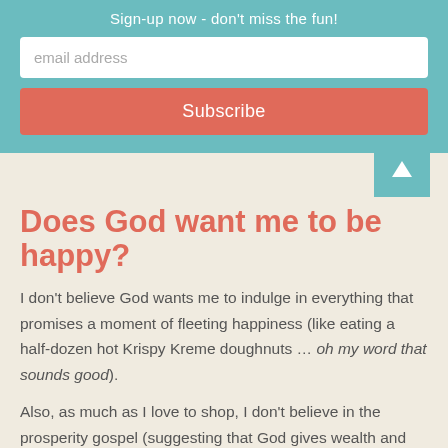Sign-up now - don't miss the fun!
email address
Subscribe
Does God want me to be happy?
I don't believe God wants me to indulge in everything that promises a moment of fleeting happiness (like eating a half-dozen hot Krispy Kreme doughnuts … oh my word that sounds good).
Also, as much as I love to shop, I don't believe in the prosperity gospel (suggesting that God gives wealth and material goods to those He deems faithful/lovable).
Fleeting happiness isn't really happiness at